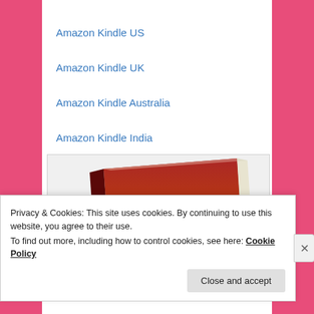Amazon Kindle US
Amazon Kindle UK
Amazon Kindle Australia
Amazon Kindle India
[Figure (photo): Book cover partially visible showing text 'YOU ARE ALREADY THAT WHICH YOU SEEK' and 'ESIGHT TO THE' on a dark red/orange background, displayed at an angle]
Privacy & Cookies: This site uses cookies. By continuing to use this website, you agree to their use.
To find out more, including how to control cookies, see here: Cookie Policy